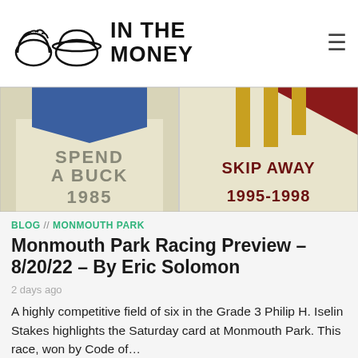IN THE MONEY
[Figure (photo): Two horse racing silks/blankets side by side: left one cream/blue reading 'SPEND A BUCK 1985', right one cream/maroon/gold reading 'SKIP AWAY 1995-1998']
BLOG // MONMOUTH PARK
Monmouth Park Racing Preview – 8/20/22 – By Eric Solomon
2 days ago
A highly competitive field of six in the Grade 3 Philip H. Iselin Stakes highlights the Saturday card at Monmouth Park. This race, won by Code of...